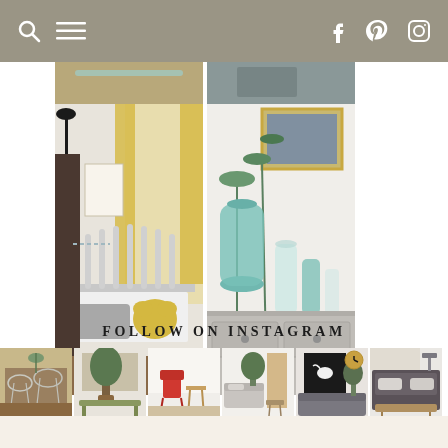Navigation bar with search, menu, Facebook, Pinterest, Instagram icons
[Figure (photo): Two interior design photos at top: left shows a children's bedroom with iron bed frame, gray pillow, yellow stuffed animal, black lamp, yellow floral curtains; right shows a dresser with turquoise/blue glass vases and green plants]
FOLLOW ON INSTAGRAM
[Figure (photo): Row of six Instagram thumbnail photos showing interior design scenes: dining area with wire chairs and plants, room with bench and potted tree, colorful chairs, white room with furniture, living room with black wall art and sofa, bedroom with dark furniture]